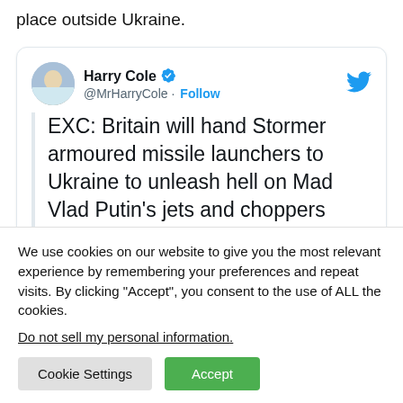place outside Ukraine.
[Figure (screenshot): Embedded tweet from Harry Cole (@MrHarryCole) with verified badge and Follow button. Tweet text: 'EXC: Britain will hand Stormer armoured missile launchers to Ukraine to unleash hell on Mad Vlad Putin’s jets and choppers' followed by 'Major boost to Ukrainian air'. Twitter bird icon in top right of card.]
We use cookies on our website to give you the most relevant experience by remembering your preferences and repeat visits. By clicking “Accept”, you consent to the use of ALL the cookies.
Do not sell my personal information.
Cookie Settings | Accept